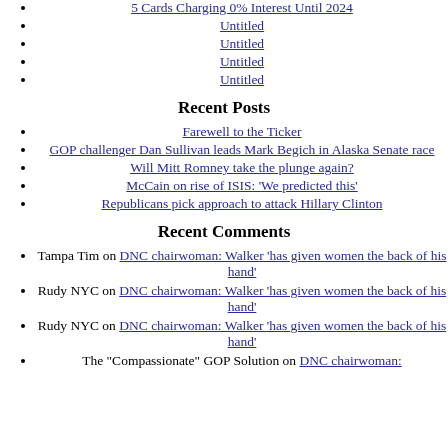5 Cards Charging 0% Interest Until 2024
Untitled
Untitled
Untitled
Untitled
Recent Posts
Farewell to the Ticker
GOP challenger Dan Sullivan leads Mark Begich in Alaska Senate race
Will Mitt Romney take the plunge again?
McCain on rise of ISIS: 'We predicted this'
Republicans pick approach to attack Hillary Clinton
Recent Comments
Tampa Tim on DNC chairwoman: Walker 'has given women the back of his hand'
Rudy NYC on DNC chairwoman: Walker 'has given women the back of his hand'
Rudy NYC on DNC chairwoman: Walker 'has given women the back of his hand'
The "Compassionate" GOP Solution on DNC chairwoman: Walker 'has given women the back of his hand'